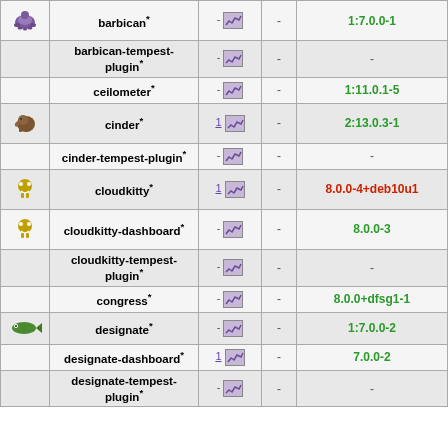| icon | package | links | dash | version |
| --- | --- | --- | --- | --- |
| barbican-icon | barbican* | - [chart] | - | 1:7.0.0-1 |
|  | barbican-tempest-plugin* | - [chart] | - | - |
|  | ceilometer* | - [chart] | - | 1:11.0.1-5 |
| cinder-icon | cinder* | 1 [chart] | - | 2:13.0.3-1 |
|  | cinder-tempest-plugin* | - [chart] | - | - |
| cloudkitty-icon | cloudkitty* | 1 [chart] | - | 8.0.0-4+deb10u1 |
| cloudkitty-icon2 | cloudkitty-dashboard* | - [chart] | - | 8.0.0-3 |
|  | cloudkitty-tempest-plugin* | - [chart] | - | - |
|  | congress* | - [chart] | - | 8.0.0+dfsg1-1 |
| designate-icon | designate* | - [chart] | - | 1:7.0.0-2 |
|  | designate-dashboard* | 1 [chart] | - | 7.0.0-2 |
|  | designate-tempest-plugin* | - [chart] | - | - |